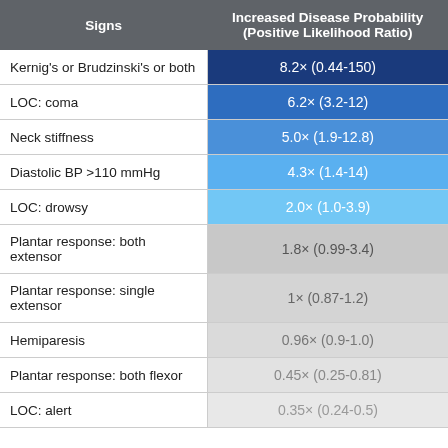| Signs | Increased Disease Probability (Positive Likelihood Ratio) |
| --- | --- |
| Kernig's or Brudzinski's or both | 8.2× (0.44-150) |
| LOC: coma | 6.2× (3.2-12) |
| Neck stiffness | 5.0× (1.9-12.8) |
| Diastolic BP >110 mmHg | 4.3× (1.4-14) |
| LOC: drowsy | 2.0× (1.0-3.9) |
| Plantar response: both extensor | 1.8× (0.99-3.4) |
| Plantar response: single extensor | 1× (0.87-1.2) |
| Hemiparesis | 0.96× (0.9-1.0) |
| Plantar response: both flexor | 0.45× (0.25-0.81) |
| LOC: alert | 0.35× (0.24-0.5) |